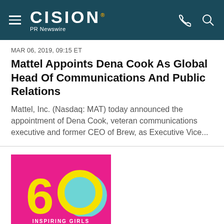CISION PR Newswire
MAR 06, 2019, 09:15 ET
Mattel Appoints Dena Cook As Global Head Of Communications And Public Relations
Mattel, Inc. (Nasdaq: MAT) today announced the appointment of Dena Cook, veteran communications executive and former CEO of Brew, as Executive Vice...
[Figure (logo): Barbie 60th anniversary logo - magenta background with yellow '60' text and teal circle, text 'INSPIRING GIRLS SINCE 1959' and Barbie logo in white]
MAR 06, 2019, 07:00 ET
Barbie™ Celebrates 60 Years As A Model Of Empowerment For Girls...